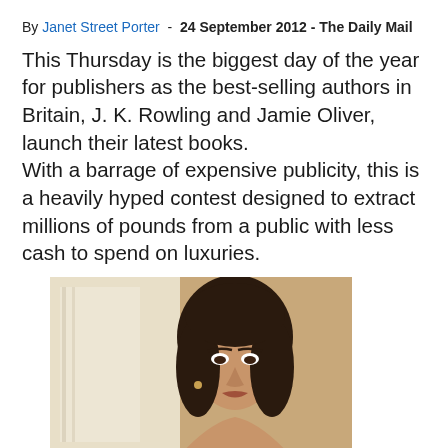By Janet Street Porter - 24 September 2012 - The Daily Mail
This Thursday is the biggest day of the year for publishers as the best-selling authors in Britain, J. K. Rowling and Jamie Oliver, launch their latest books.
With a barrage of expensive publicity, this is a heavily hyped contest designed to extract millions of pounds from a public with less cash to spend on luxuries.
[Figure (photo): A woman with dark hair looking at the camera, photographed indoors with a warm-toned background.]